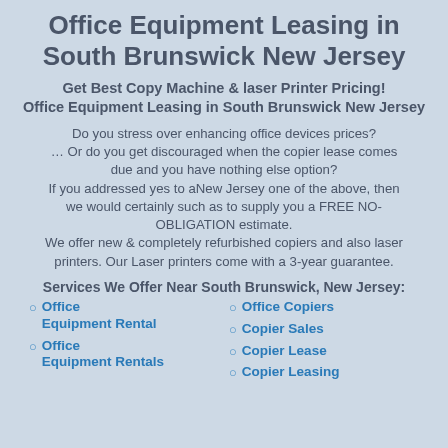Office Equipment Leasing in South Brunswick New Jersey
Get Best Copy Machine & laser Printer Pricing! Office Equipment Leasing in South Brunswick New Jersey
Do you stress over enhancing office devices prices? … Or do you get discouraged when the copier lease comes due and you have nothing else option? If you addressed yes to aNew Jersey one of the above, then we would certainly such as to supply you a FREE NO-OBLIGATION estimate. We offer new & completely refurbished copiers and also laser printers. Our Laser printers come with a 3-year guarantee.
Services We Offer Near South Brunswick, New Jersey:
Office Equipment Rental
Office Copiers
Office Equipment Rentals
Copier Sales
Office
Copier Lease
Copier Leasing